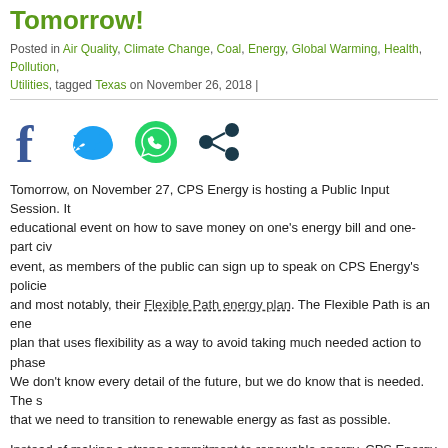Tomorrow!
Posted in Air Quality, Climate Change, Coal, Energy, Global Warming, Health, Pollution, Utilities, tagged Texas on November 26, 2018 |
[Figure (illustration): Social sharing icons: Facebook (blue f), Twitter (blue bird), WhatsApp (green phone in bubble), Share (dark teal connected dots)]
Tomorrow, on November 27, CPS Energy is hosting a Public Input Session. It educational event on how to save money on one's energy bill and one-part civ event, as members of the public can sign up to speak on CPS Energy's policie and most notably, their Flexible Path energy plan. The Flexible Path is an ene plan that uses flexibility as a way to avoid taking much needed action to phase We don't know every detail of the future, but we do know that is needed. The s that we need to transition to renewable energy as fast as possible.
Instead of making a strong commitment to renewable energy, CPS Energy em coal for the foreseeable future – at least until 2042. This is a future that will co us and our families, our water, our land, and our air. For a healthier future for S must transition to renewable energy!
A just transition to renewable energy means:
Less pollution and cleaner air